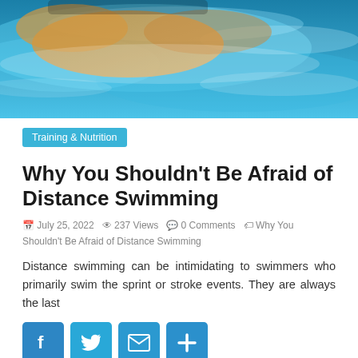[Figure (photo): Close-up of a swimmer in a pool, water splashing around them, blue water and golden skin tones visible]
Training & Nutrition
Why You Shouldn't Be Afraid of Distance Swimming
July 25, 2022   237 Views   0 Comments   Why You Shouldn't Be Afraid of Distance Swimming
Distance swimming can be intimidating to swimmers who primarily swim the sprint or stroke events. They are always the last
[Figure (infographic): Social sharing buttons: Facebook, Twitter, Email, and More (plus icon)]
Read more